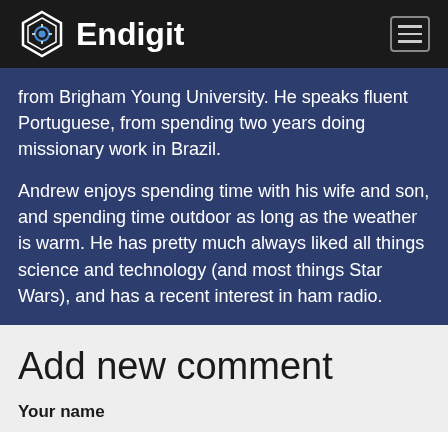[Figure (logo): Endigit logo with hexagonal icon and white text]
from Brigham Young University.  He speaks fluent Portuguese, from spending two years doing missionary work in Brazil.
Andrew enjoys spending time with his wife and son, and spending time outdoor as long as the weather is warm.  He has pretty much always liked all things science and technology (and most things Star Wars), and has a recent interest in ham radio.
Add new comment
Your name